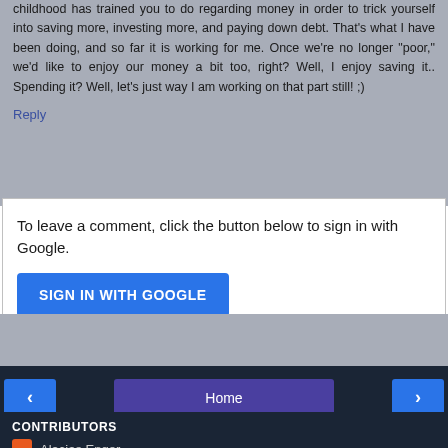childhood has trained you to do regarding money in order to trick yourself into saving more, investing more, and paying down debt. That's what I have been doing, and so far it is working for me. Once we're no longer "poor," we'd like to enjoy our money a bit too, right? Well, I enjoy saving it.. Spending it? Well, let's just way I am working on that part still! ;)
Reply
To leave a comment, click the button below to sign in with Google.
SIGN IN WITH GOOGLE
Home
View web version
CONTRIBUTORS
Alacias Enger